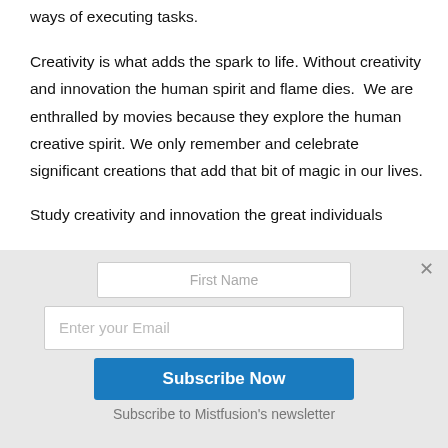ways of executing tasks.
Creativity is what adds the spark to life. Without creativity and innovation the human spirit and flame dies.  We are enthralled by movies because they explore the human creative spirit. We only remember and celebrate significant creations that add that bit of magic in our lives.
Study creativity and innovation the great individuals
[Figure (screenshot): Email subscription popup overlay with First Name field, Enter your Email field, Subscribe Now button, and 'Subscribe to Mistfusion's newsletter' label, with a close X button in top right.]